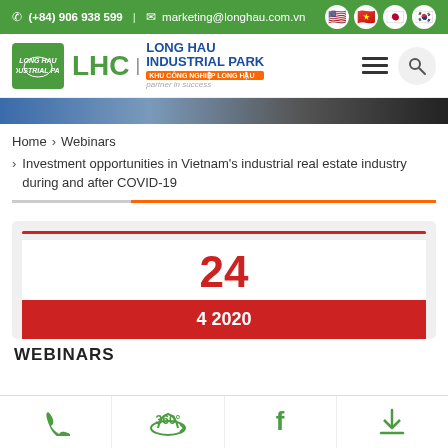(+84) 906 938 599 | marketing@longhau.com.vn
[Figure (logo): LHC Long Hau Industrial Park logo with green icon, blue text and orange tagline, with hamburger menu and search icon]
[Figure (photo): Hero image strip showing industrial/manufacturing imagery]
Home > Webinars > Investment opportunities in Vietnam's industrial real estate industry during and after COVID-19
[Figure (infographic): Date card showing '24' in large red text and '4 2020' in white text on red background bar]
WEBINARS
Phone | 360° | Facebook | Download